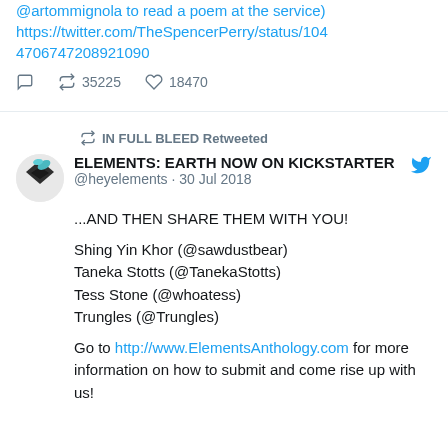@artommignola to read a poem at the service) https://twitter.com/TheSpencerPerry/status/10447067472089210 90
35225 retweets 18470 likes
IN FULL BLEED Retweeted
ELEMENTS: EARTH NOW ON KICKSTARTER
@heyelements · 30 Jul 2018
...AND THEN SHARE THEM WITH YOU!

Shing Yin Khor (@sawdustbear)
Taneka Stotts (@TanekaStotts)
Tess Stone (@whoatess)
Trungles (@Trungles)

Go to http://www.ElementsAnthology.com for more information on how to submit and come rise up with us!